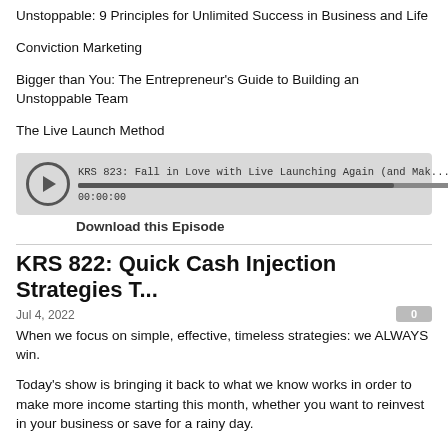Unstoppable: 9 Principles for Unlimited Success in Business and Life
Conviction Marketing
Bigger than You: The Entrepreneur's Guide to Building an Unstoppable Team
The Live Launch Method
[Figure (other): Audio player widget showing episode 'KRS 823: Fall in Love with Live Launching Again (and Mak...' with progress bar and libsyn branding, time 00:00:00]
Download this Episode
KRS 822: Quick Cash Injection Strategies T...
Jul 4, 2022
When we focus on simple, effective, timeless strategies: we ALWAYS win.
Today's show is bringing it back to what we know works in order to make more income starting this month, whether you want to reinvest in your business or save for a rainy day.